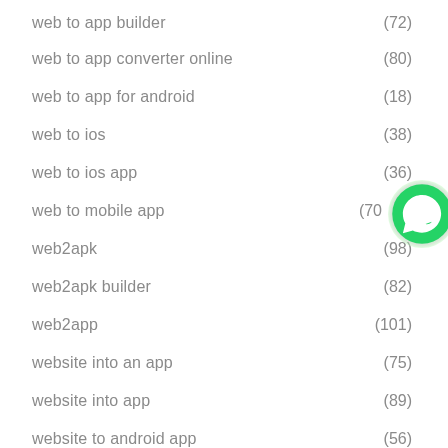web to app builder (72)
web to app converter online (80)
web to app for android (18)
web to ios (38)
web to ios app (36)
web to mobile app (70)
web2apk (98)
web2apk builder (82)
web2app (101)
website into an app (75)
website into app (89)
website to android app (56)